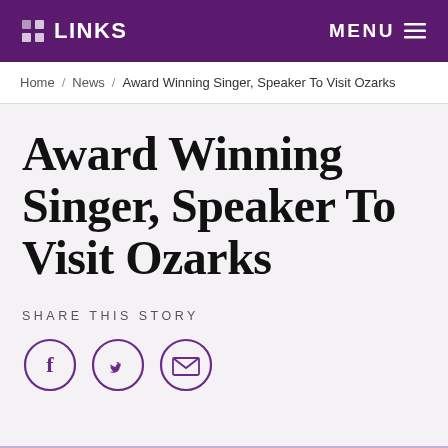LINKS   MENU
Home / News / Award Winning Singer, Speaker To Visit Ozarks
Award Winning Singer, Speaker To Visit Ozarks
SHARE THIS STORY
[Figure (illustration): Three social share icon circles: Facebook (f), Twitter (bird), and Email (envelope), in purple outlines]